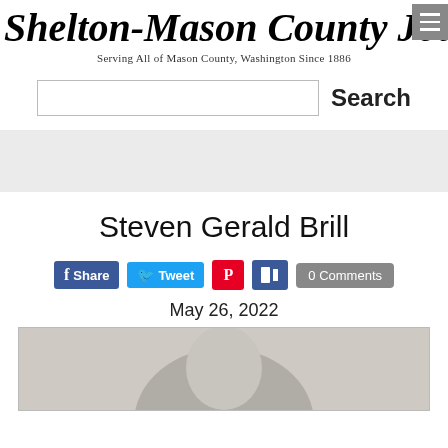Shelton-Mason County Journal
Serving All of Mason County, Washington Since 1886
Search
Steven Gerald Brill
Share  Tweet  0 Comments
May 26, 2022
[Figure (photo): Portrait photo of Steven Gerald Brill, showing top of head/hair against a light gray background]